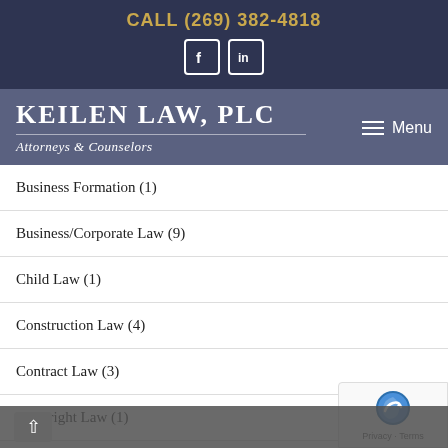CALL (269) 382-4818
[Figure (logo): Facebook and LinkedIn social media icons in white squares]
KEILEN LAW, PLC
Attorneys & Counselors
Menu
Business Formation (1)
Business/Corporate Law (9)
Child Law (1)
Construction Law (4)
Contract Law (3)
Copyright Law (1)
Estate and Trust Litigation (6)